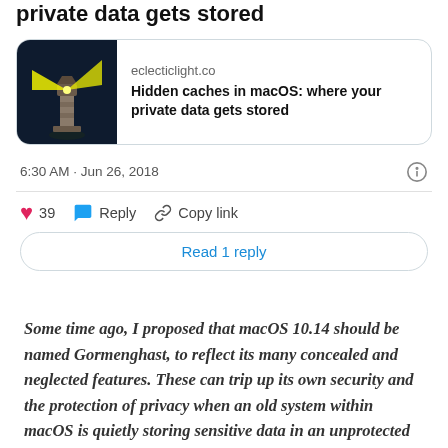private data gets stored
[Figure (screenshot): Tweet embed card showing eclecticlight.co article: Hidden caches in macOS: where your private data gets stored, with lighthouse logo]
6:30 AM · Jun 26, 2018
39   Reply   Copy link
Read 1 reply
Some time ago, I proposed that macOS 10.14 should be named Gormenghast, to reflect its many concealed and neglected features. These can trip up its own security and the protection of privacy when an old system within macOS is quietly storing sensitive data in an unprotected location. A good example is the latest vulnerability in QuickLook (or Quick Look, as